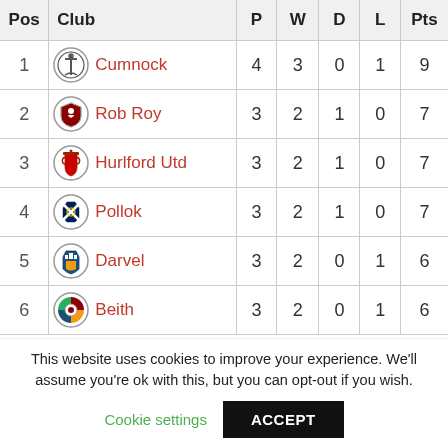| Pos | Club | P | W | D | L | Pts |
| --- | --- | --- | --- | --- | --- | --- |
| 1 | Cumnock | 4 | 3 | 0 | 1 | 9 |
| 2 | Rob Roy | 3 | 2 | 1 | 0 | 7 |
| 3 | Hurlford Utd | 3 | 2 | 1 | 0 | 7 |
| 4 | Pollok | 3 | 2 | 1 | 0 | 7 |
| 5 | Darvel | 3 | 2 | 0 | 1 | 6 |
| 6 | Beith | 3 | 2 | 0 | 1 | 6 |
This website uses cookies to improve your experience. We'll assume you're ok with this, but you can opt-out if you wish.
Cookie settings | ACCEPT